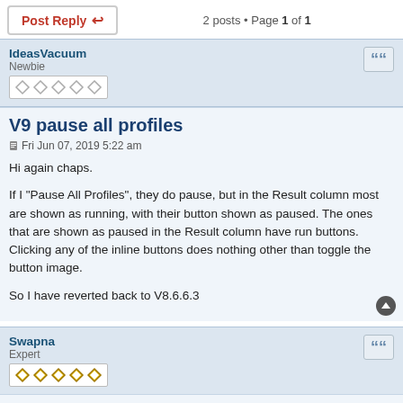Post Reply
2 posts • Page 1 of 1
IdeasVacuum
Newbie
V9 pause all profiles
Fri Jun 07, 2019 5:22 am
Hi again chaps.

If I "Pause All Profiles", they do pause, but in the Result column most are shown as running, with their button shown as paused. The ones that are shown as paused in the Result column have run buttons. Clicking any of the inline buttons does nothing other than toggle the button image.

So I have reverted back to V8.6.6.3
Swapna
Expert
Re: V9 pause all profiles
Fri Jun 07, 2019 1:33 pm